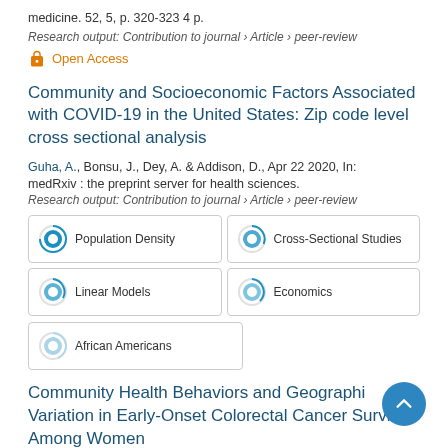medicine. 52, 5, p. 320-323 4 p.
Research output: Contribution to journal › Article › peer-review
Open Access
Community and Socioeconomic Factors Associated with COVID-19 in the United States: Zip code level cross sectional analysis
Guha, A., Bonsu, J., Dey, A. & Addison, D., Apr 22 2020, In: medRxiv : the preprint server for health sciences.
Research output: Contribution to journal › Article › peer-review
Population Density
Cross-Sectional Studies
Linear Models
Economics
African Americans
Community Health Behaviors and Geographic Variation in Early-Onset Colorectal Cancer Survival Among Women